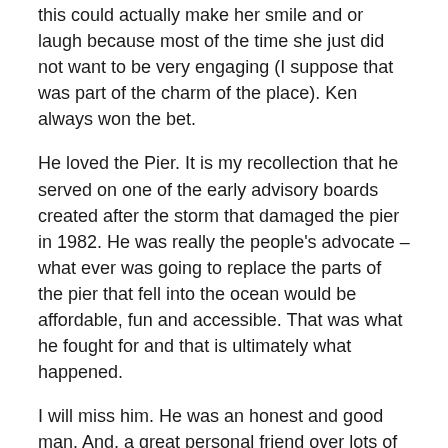this could actually make her smile and or laugh because most of the time she just did not want to be very engaging (I suppose that was part of the charm of the place). Ken always won the bet.
He loved the Pier. It is my recollection that he served on one of the early advisory boards created after the storm that damaged the pier in 1982. He was really the people's advocate – what ever was going to replace the parts of the pier that fell into the ocean would be affordable, fun and accessible. That was what he fought for and that is ultimately what happened.
I will miss him. He was an honest and good man. And, a great personal friend over lots of years.
Judy Abdo
The line between friend and colleague is blurred in Santa Monica. That is a healthy tension for a friend and